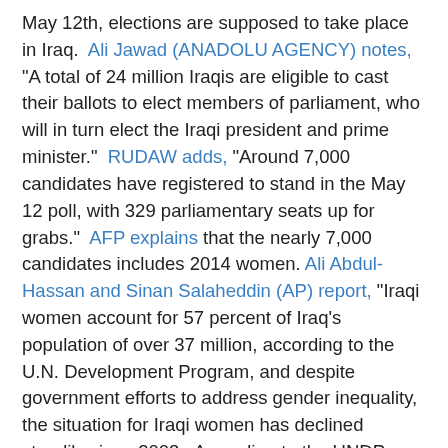May 12th, elections are supposed to take place in Iraq. Ali Jawad (ANADOLU AGENCY) notes, "A total of 24 million Iraqis are eligible to cast their ballots to elect members of parliament, who will in turn elect the Iraqi president and prime minister." RUDAW adds, "Around 7,000 candidates have registered to stand in the May 12 poll, with 329 parliamentary seats up for grabs." AFP explains that the nearly 7,000 candidates includes 2014 women. Ali Abdul-Hassan and Sinan Salaheddin (AP) report, "Iraqi women account for 57 percent of Iraq's population of over 37 million, according to the U.N. Development Program, and despite government efforts to address gender inequality, the situation for Iraqi women has declined steadily since 2003. According to the UNDP, one in every 10 Iraqi households is headed by a widow. In recent years, Iraqi women suffered further economic, social and political marginalization due to decades of wars, conflict, violence and sanctions." RUDAW also notes that 60 Christian candidates are competing for the five allotted minority seats. How do they elect the prime minister? This comes after the general election and is based on who won seats in the election. Abdulrahman al-Rashed (AL ARABIYA) explains, "To win the